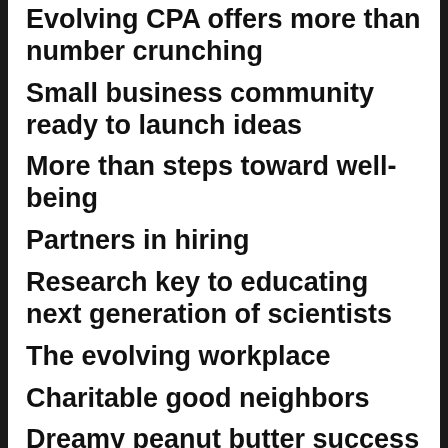Evolving CPA offers more than number crunching
Small business community ready to launch ideas
More than steps toward well-being
Partners in hiring
Research key to educating next generation of scientists
The evolving workplace
Charitable good neighbors
Dreamy peanut butter success
Out & about in Northwest Indiana
Out & about in greater South Bend: December, January 2019